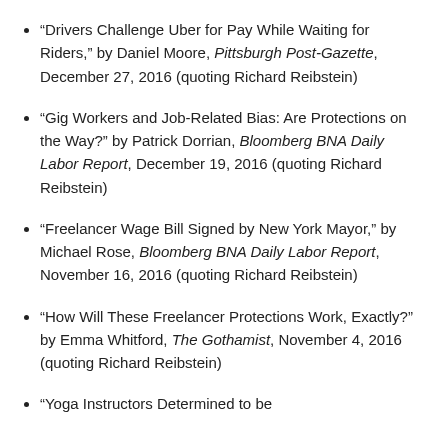“Drivers Challenge Uber for Pay While Waiting for Riders,” by Daniel Moore, Pittsburgh Post-Gazette, December 27, 2016 (quoting Richard Reibstein)
“Gig Workers and Job-Related Bias: Are Protections on the Way?” by Patrick Dorrian, Bloomberg BNA Daily Labor Report, December 19, 2016 (quoting Richard Reibstein)
“Freelancer Wage Bill Signed by New York Mayor,” by Michael Rose, Bloomberg BNA Daily Labor Report, November 16, 2016 (quoting Richard Reibstein)
“How Will These Freelancer Protections Work, Exactly?” by Emma Whitford, The Gothamist, November 4, 2016 (quoting Richard Reibstein)
“Yoga Instructors Determined to be